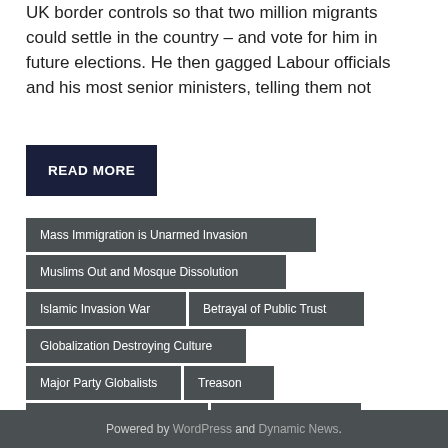UK border controls so that two million migrants could settle in the country – and vote for him in future elections. He then gagged Labour officials and his most senior ministers, telling them not
READ MORE
Mass Immigration is Unarmed Invasion
Muslims Out and Mosque Dissolution
Islamic Invasion War
Betrayal of Public Trust
Globalization Destroying Culture
Major Party Globalists
Treason
Reverse Islamic Migration
Labour Socialists
Powered by WordPress and Dynamic News.